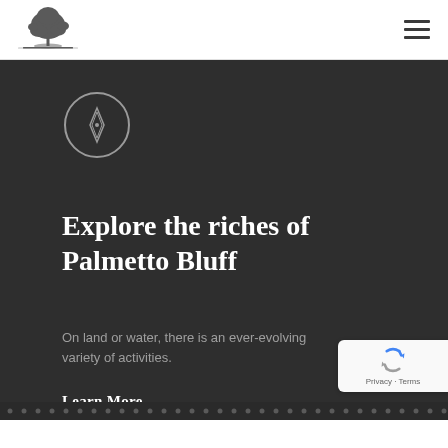[Figure (logo): Palmetto Bluff tree logo mark — a large oak or palmetto tree silhouette in dark gray]
[Figure (illustration): Hamburger / navigation menu icon — three horizontal dark lines]
[Figure (illustration): Compass icon — circle outline with diamond-shaped needle inside, light gray on dark background]
Explore the riches of Palmetto Bluff
On land or water, there is an ever-evolving variety of activities.
Learn More
[Figure (logo): Google reCAPTCHA badge — blue/gray rotating arrows logo with 'Privacy · Terms' text below]